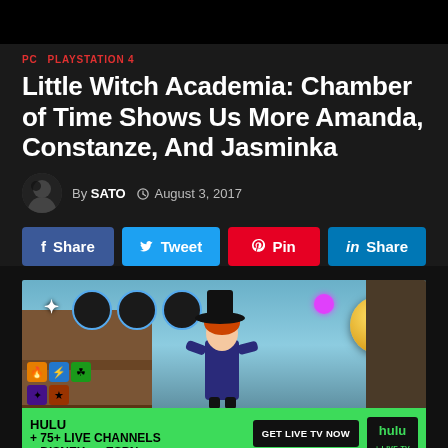PC  PLAYSTATION 4
Little Witch Academia: Chamber of Time Shows Us More Amanda, Constanze, And Jasminka
By SATO  © August 3, 2017
f Share   Tweet   Pin   in Share
[Figure (screenshot): Little Witch Academia: Chamber of Time game screenshot showing a witch character with red hair and a black hat in a battle scene with UI elements. Below is a Hulu advertisement banner reading HULU +75+ LIVE CHANNELS +DISNEY++ESPN+ with a GET LIVE TV NOW button and Hulu + Live TV logo. Restrictions apply.]